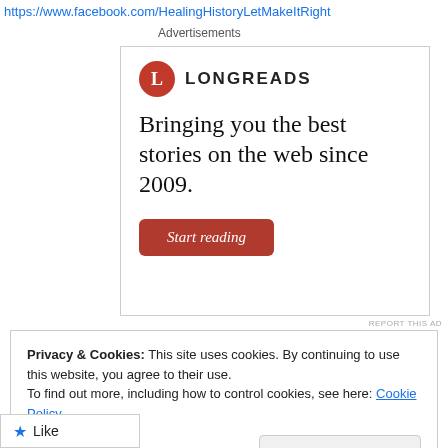https://www.facebook.com/HealingHistoryLetMakeItRight
Advertisements
[Figure (other): Longreads advertisement. Logo with red circle containing the letter L, brand name LONGREADS. Tagline: Bringing you the best stories on the web since 2009. Red button labeled Start reading.]
REPORT THIS AD
Privacy & Cookies: This site uses cookies. By continuing to use this website, you agree to their use.
To find out more, including how to control cookies, see here: Cookie Policy
Close and accept
Like